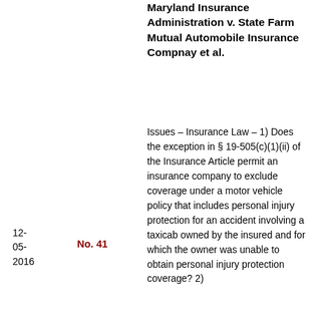Maryland Insurance Administration v. State Farm Mutual Automobile Insurance Compnay et al.
Issues – Insurance Law – 1) Does the exception in § 19-505(c)(1)(ii) of the Insurance Article permit an insurance company to exclude coverage under a motor vehicle policy that includes personal injury protection for an accident involving a taxicab owned by the insured and for which the owner was unable to obtain personal injury protection coverage? 2)
12-05-2016
No. 41